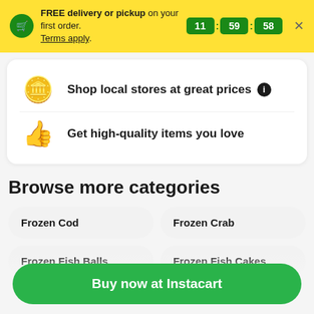FREE delivery or pickup on your first order. Terms apply. 11 : 59 : 58
Shop local stores at great prices ℹ
Get high-quality items you love
Browse more categories
Frozen Cod
Frozen Crab
Frozen Fish Balls
Frozen Fish Cakes
Buy now at Instacart